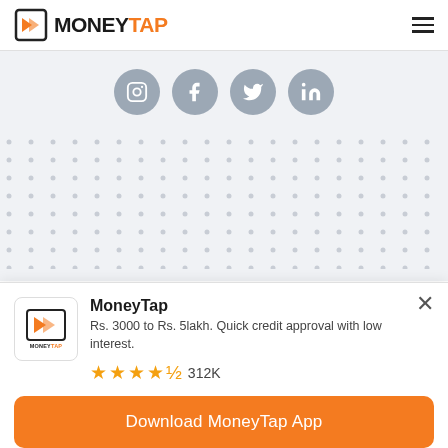MONEYTAP
[Figure (logo): MoneyTap logo with orange wing icon and text MONEY in black and TAP in orange]
[Figure (infographic): Social media icons in grey circles: Instagram, Facebook, Twitter, LinkedIn]
[Figure (other): Dot grid pattern on light grey background]
[Figure (logo): MoneyTap promotional card with logo, description Rs. 3000 to Rs. 5lakh. Quick credit approval with low interest. Rating 4.5 stars 312K]
MoneyTap
Rs. 3000 to Rs. 5lakh. Quick credit approval with low interest.
312K
Download MoneyTap App